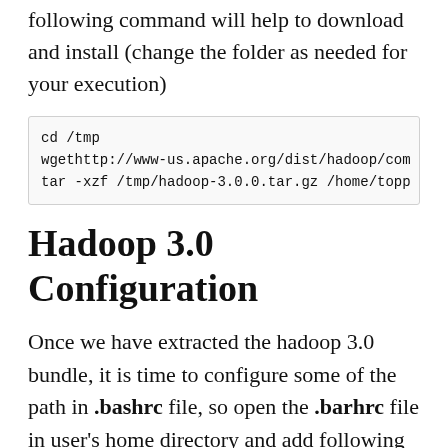following command will help to download and install (change the folder as needed for your execution)
Hadoop 3.0 Configuration
Once we have extracted the hadoop 3.0 bundle, it is time to configure some of the path in .bashrc file, so open the .barhrc file in user's home directory and add following parameters